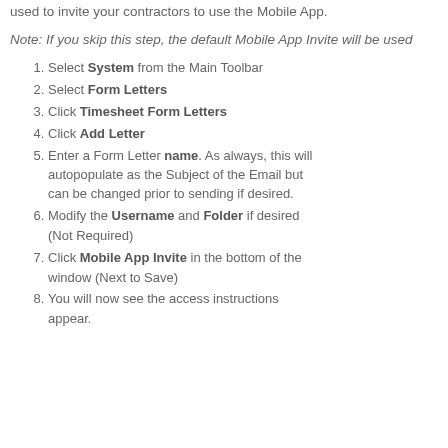used to invite your contractors to use the Mobile App.
Note: If you skip this step, the default Mobile App Invite will be used
Select System from the Main Toolbar
Select Form Letters
Click Timesheet Form Letters
Click Add Letter
Enter a Form Letter name. As always, this will autopopulate as the Subject of the Email but can be changed prior to sending if desired.
Modify the Username and Folder if desired (Not Required)
Click Mobile App Invite in the bottom of the window (Next to Save)
You will now see the access instructions appear.